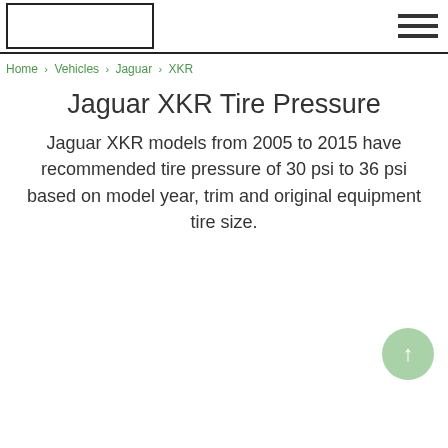[logo] [hamburger menu]
Home › Vehicles › Jaguar › XKR
Jaguar XKR Tire Pressure
Jaguar XKR models from 2005 to 2015 have recommended tire pressure of 30 psi to 36 psi based on model year, trim and original equipment tire size.